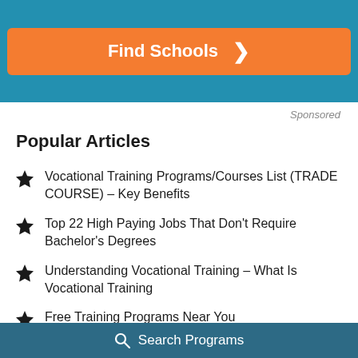[Figure (other): Teal banner with orange Find Schools button and arrow]
Sponsored
Popular Articles
Vocational Training Programs/Courses List (TRADE COURSE) – Key Benefits
Top 22 High Paying Jobs That Don't Require Bachelor's Degrees
Understanding Vocational Training – What Is Vocational Training
Free Training Programs Near You
Search Programs